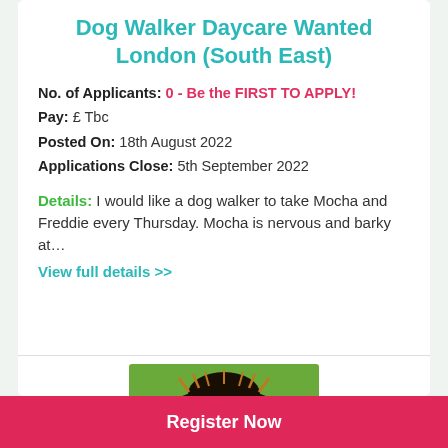Dog Walker Daycare Wanted London (South East)
No. of Applicants: 0 - Be the FIRST TO APPLY!
Pay: £ Tbc
Posted On: 18th August 2022
Applications Close: 5th September 2022
Details: I would like a dog walker to take Mocha and Freddie every Thursday. Mocha is nervous and barky at...
View full details >>
[Figure (photo): Photo of a dog (Yorkshire Terrier) on grass, viewed from above]
Register Now